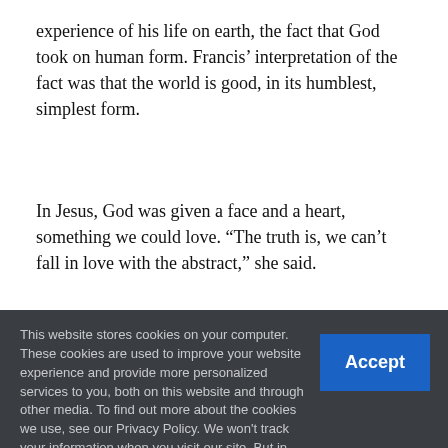experience of his life on earth, the fact that God took on human form. Francis' interpretation of the fact was that the world is good, in its humblest, simplest form.
In Jesus, God was given a face and a heart, something we could love. “The truth is, we can’t fall in love with the abstract,” she said.
This website stores cookies on your computer. These cookies are used to improve your website experience and provide more personalized services to you, both on this website and through other media. To find out more about the cookies we use, see our Privacy Policy. We won't track your information when you visit our site. But in order to comply with your preferences, we'll have to use just one tiny cookie so that you're not asked to make this choice again. Settings ‹